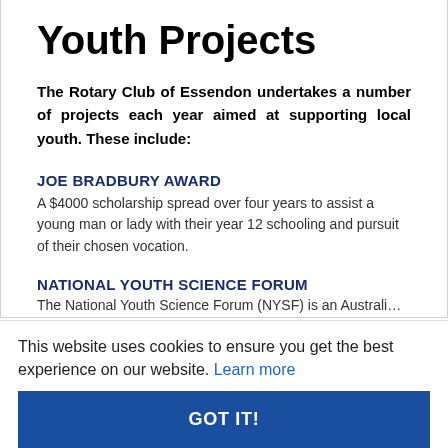Youth Projects
The Rotary Club of Essendon undertakes a number of projects each year aimed at supporting local youth. These include:
JOE BRADBURY AWARD
A $4000 scholarship spread over four years to assist a young man or lady with their year 12 schooling and pursuit of their chosen vocation.
NATIONAL YOUTH SCIENCE FORUM
The National Youth Science Forum (NYSF) is an Australi…
This website uses cookies to ensure you get the best experience on our website. Learn more
GOT IT!